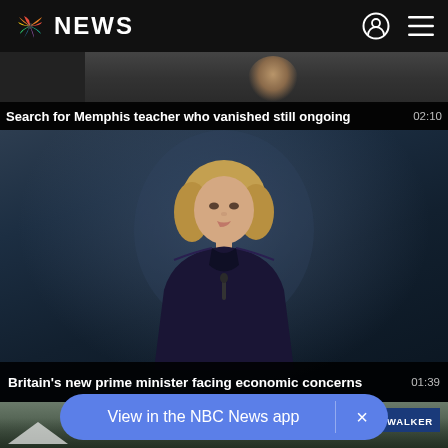NBC NEWS
[Figure (screenshot): Partially visible video thumbnail for Memphis teacher story]
Search for Memphis teacher who vanished still ongoing  02:10
[Figure (screenshot): Video thumbnail showing a woman (Liz Truss) at a podium against a blue-grey background]
Britain's new prime minister facing economic concerns  01:39
[Figure (screenshot): Partially visible video thumbnail with JOE G. WALKER lower-third graphic]
View in the NBC News app